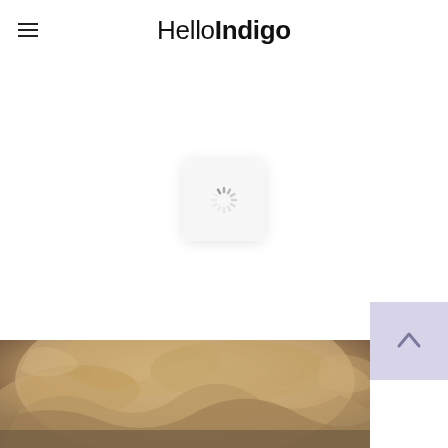HelloIndigo
[Figure (other): Loading spinner icon inside a rounded white box with shadow, centered on white background]
[Figure (photo): Partial photo of a person with messy blonde/brown updo hair, cropped at bottom of page]
[Figure (other): Lavender/light purple scroll-to-top button with upward arrow, positioned bottom right]